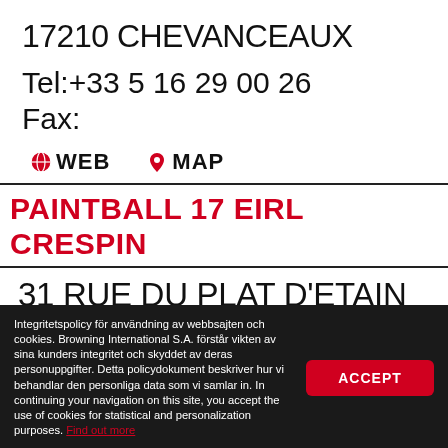17210 CHEVANCEAUX
Tel:+33 5 16 29 00 26
Fax:
🌐 WEB   📍 MAP
PAINTBALL 17 EIRL CRESPIN
31 RUE DU PLAT D'ETAIN
17250 ST SULPICE
Integritetspolicy för användning av webbsajten och cookies. Browning International S.A. förstår vikten av sina kunders integritet och skyddet av deras personuppgifter. Detta policydokument beskriver hur vi behandlar den personliga data som vi samlar in. In continuing your navigation on this site, you accept the use of cookies for statistical and personalization purposes. Find out more